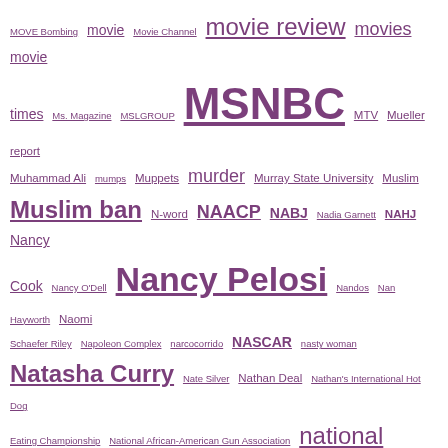MOVE Bombing movie Movie Channel movie review movies movie times Ms. Magazine MSLGROUP MSNBC MTV Mueller report Muhammad Ali mumps Muppets murder Murray State University Muslim Muslim ban N-word NAACP NABJ Nadia Garnett NAHJ Nancy Cook Nancy O'Dell Nancy Pelosi Nandos Nan Hayworth Naomi Schaefer Riley Napoleon Complex narcocorrido NASCAR nasty woman Natasha Curry Nate Silver Nathan Deal Nathan's International Hot Dog Eating Championship National African-American Gun Association national anthem national anthem racist National Association of Black Journalists National Association of Hispanic Journalists National Black Church Initiative National Council of La Raza national emergency National Front National Journal National Museum of African American History and Culture National Post National Public Radio National Restaurant Association National Review National Rifle Association national security National Security Adviser National Security Agency National Security Council National Star Wars Day National Urban League Native American Native Americans NATO NatSecWonk Natural Gas natural hair